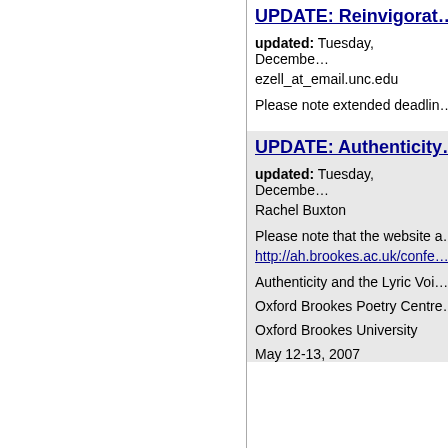UPDATE: Reinvigorat…
updated: Tuesday, Decembe…
ezell_at_email.unc.edu
Please note extended deadlin…
UPDATE: Authenticity…
updated: Tuesday, Decembe…
Rachel Buxton
Please note that the website a…
http://ah.brookes.ac.uk/confe…
Authenticity and the Lyric Voi…
Oxford Brookes Poetry Centre…
Oxford Brookes University
May 12-13, 2007